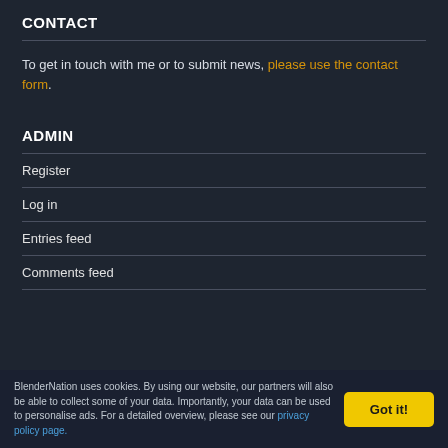CONTACT
To get in touch with me or to submit news, please use the contact form.
ADMIN
Register
Log in
Entries feed
Comments feed
BlenderNation uses cookies. By using our website, our partners will also be able to collect some of your data. Importantly, your data can be used to personalise ads. For a detailed overview, please see our privacy policy page.